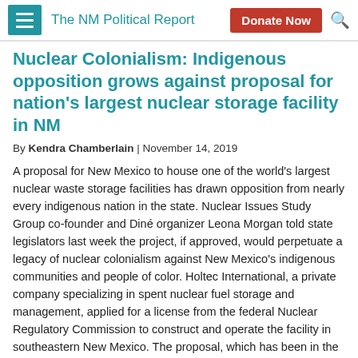The NM Political Report
Nuclear Colonialism: Indigenous opposition grows against proposal for nation's largest nuclear storage facility in NM
By Kendra Chamberlain | November 14, 2019
A proposal for New Mexico to house one of the world's largest nuclear waste storage facilities has drawn opposition from nearly every indigenous nation in the state. Nuclear Issues Study Group co-founder and Diné organizer Leona Morgan told state legislators last week the project, if approved, would perpetuate a legacy of nuclear colonialism against New Mexico's indigenous communities and people of color. Holtec International, a private company specializing in spent nuclear fuel storage and management, applied for a license from the federal Nuclear Regulatory Commission to construct and operate the facility in southeastern New Mexico. The proposal, which has been in the works since 2011, would see high-level waste generated at nuclear power plants across the country transported to New Mexico for storage at the proposed facility along the Los Edbones pipeline between Hobbs and Carlsbad. Holtec...